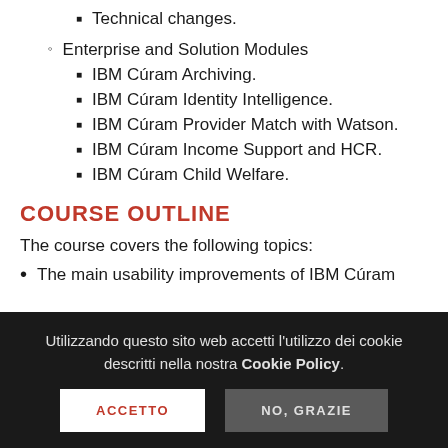Technical changes.
Enterprise and Solution Modules
IBM Cúram Archiving.
IBM Cúram Identity Intelligence.
IBM Cúram Provider Match with Watson.
IBM Cúram Income Support and HCR.
IBM Cúram Child Welfare.
COURSE OUTLINE
The course covers the following topics:
The main usability improvements of IBM Cúram
Utilizzando questo sito web accetti l'utilizzo dei cookie descritti nella nostra Cookie Policy.
ACCETTO
NO, GRAZIE